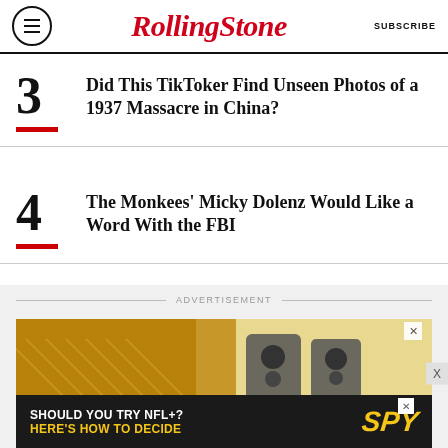Rolling Stone | SUBSCRIBE
3 Did This TikToker Find Unseen Photos of a 1937 Massacre in China?
4 The Monkees' Micky Dolenz Would Like a Word With the FBI
5 Biden Slams 'MAGA Republicans' in Fiery Speech: 'You Can't Love Your Country Only When You Win'
ADVERTISEMENT
[Figure (photo): Advertisement image showing speakers/audio equipment with golden-yellow background, and a banner reading SHOULD YOU TRY NFL+? HERE'S HOW TO DECIDE with SPY logo]